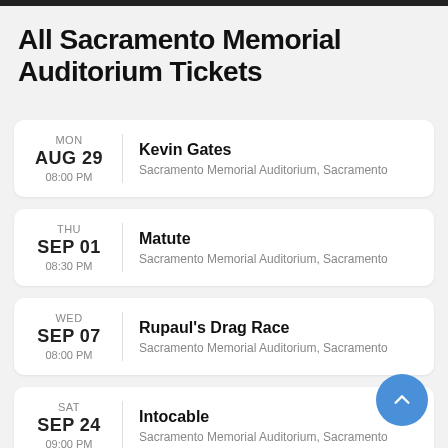All Sacramento Memorial Auditorium Tickets
MON AUG 29 08:00 PM — Kevin Gates — Sacramento Memorial Auditorium, Sacramento
THU SEP 01 08:30 PM — Matute — Sacramento Memorial Auditorium, Sacramento
WED SEP 07 08:00 PM — Rupaul's Drag Race — Sacramento Memorial Auditorium, Sacramento
SAT SEP 24 09:00 PM — Intocable — Sacramento Memorial Auditorium, Sacramento